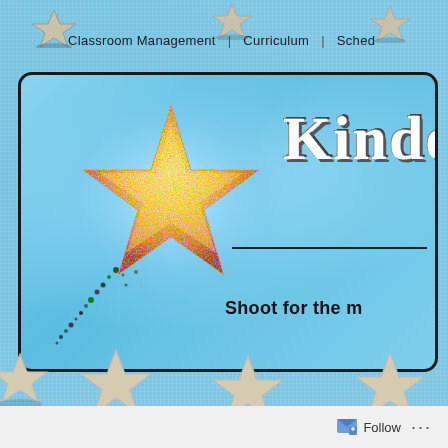Classroom Management | Curriculum | Sched
[Figure (screenshot): Kindergarten classroom blog banner with a large glittery golden shooting star on a fuzzy blue background, with colorful small star trail. Partial text 'Kinde' visible in chunky dark font. Text 'Shoot for the m' below a horizontal rule.]
Follow ...